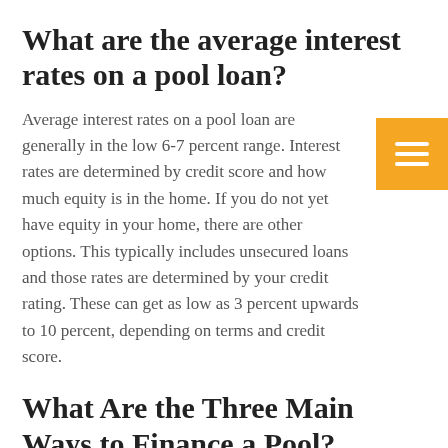What are the average interest rates on a pool loan?
Average interest rates on a pool loan are generally in the low 6-7 percent range. Interest rates are determined by credit score and how much equity is in the home. If you do not yet have equity in your home, there are other options. This typically includes unsecured loans and those rates are determined by your credit rating. These can get as low as 3 percent upwards to 10 percent, depending on terms and credit score.
What Are the Three Main Ways to Finance a Pool?